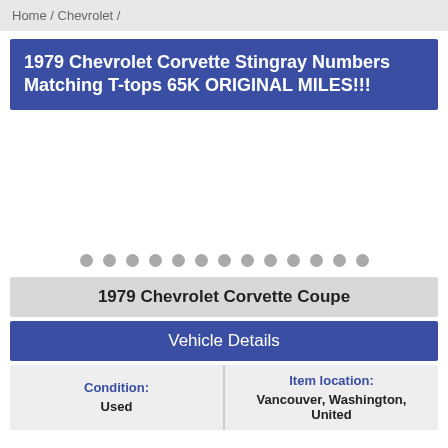Home / Chevrolet /
1979 Chevrolet Corvette Stingray Numbers Matching T-tops 65K ORIGINAL MILES!!!
[Figure (photo): Image area for 1979 Chevrolet Corvette, currently blank/loading with navigation dots below]
1979 Chevrolet Corvette Coupe
Vehicle Details
| Condition: | Item location: |
| --- | --- |
| Used | Vancouver, Washington, United |